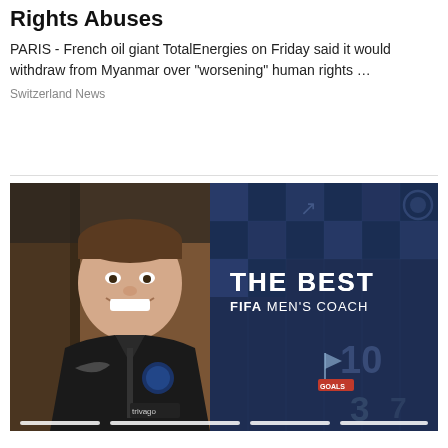Rights Abuses
PARIS -  French oil giant TotalEnergies on Friday said it would withdraw from Myanmar over "worsening" human rights …
Switzerland News
[Figure (screenshot): Video screenshot showing a man smiling, wearing a black Chelsea FC Nike jacket with Trivago sponsor, next to 'THE BEST FIFA MEN'S COACH' text overlay on a dark blue graphic background with football-themed numbers and icons.]